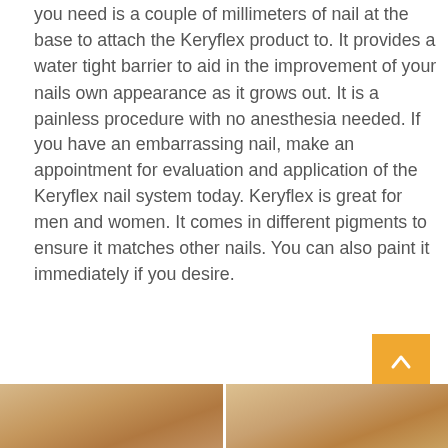you need is a couple of millimeters of nail at the base to attach the Keryflex product to. It provides a water tight barrier to aid in the improvement of your nails own appearance as it grows out. It is a painless procedure with no anesthesia needed. If you have an embarrassing nail, make an appointment for evaluation and application of the Keryflex nail system today. Keryflex is great for men and women. It comes in different pigments to ensure it matches other nails. You can also paint it immediately if you desire.
[Figure (photo): Two side-by-side close-up photos of toes/nails, partially visible at the bottom of the page]